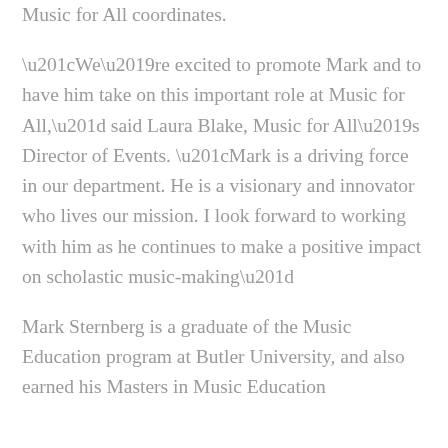Music for All coordinates.
“We’re excited to promote Mark and to have him take on this important role at Music for All,” said Laura Blake, Music for All’s Director of Events. “Mark is a driving force in our department. He is a visionary and innovator who lives our mission. I look forward to working with him as he continues to make a positive impact on scholastic music-making”
Mark Sternberg is a graduate of the Music Education program at Butler University, and also earned his Masters in Music Education